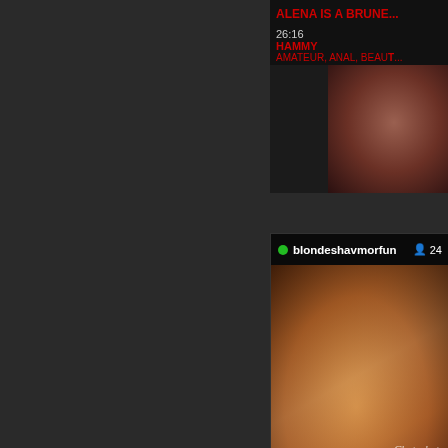[Figure (screenshot): Dark website background with adult content video thumbnails. Top right shows a title 'ALENA IS A BRUNE...' in red, duration 26:16, channel name HAMMY, tags AMATEUR, ANAL, BEAUT... A webcam stream panel shows 'blondeshavmorfun' with 24 viewers, a video of a person, Chaturbate watermark, 3 HRS 25 MINS, 1016 CURRENT VIEWERS. Below is a live chat box with messages from blondeshavmorfun and BigBen1665, and a SEND button.]